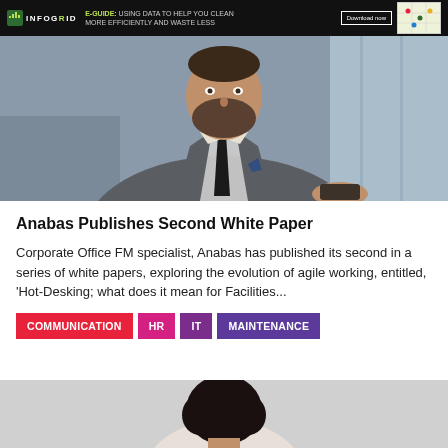INFOGRID | E-GUIDE: USING DATA TO HELP YOU CLEAN MORE EFFICIENTLY AND WASTE LESS | Download now
[Figure (photo): A man in a grey suit and black tie, seated, photographed from waist/chest up in an office environment]
Anabas Publishes Second White Paper
Corporate Office FM specialist, Anabas has published its second in a series of white papers, exploring the evolution of agile working, entitled, 'Hot-Desking; what does it mean for Facilities...
COMMUNICATION
HR
IT
MAINTENANCE
[Figure (photo): Partial view of a person with dark curly hair, photographed from above/behind, visible at the bottom of the page]